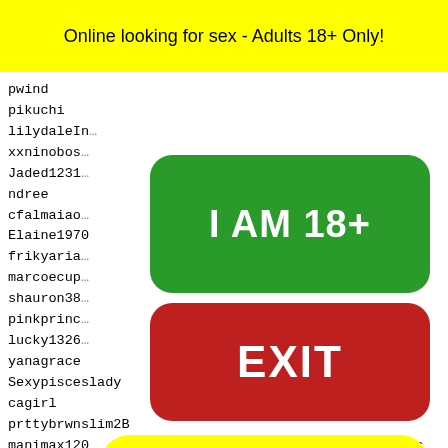Online looking for sex - Adults 18+ Only!
pwind
pikuchi
lilydaleIn...
xxninobos...
Jaded1231...
ndree
cfalmaiao...
Elaine1970
frikyaria...
marcoecup...
shauron38...
pinkprinc...
lucky13263...
yanagrace
Sexypisceslady
cagirl
prttybrwnslim2B
manimax120
motormind99
elgorc...
blibli...
wpslo...
prinzz...
jotain...
mt38
[Figure (other): Green button labeled I AM 18+]
[Figure (other): Red button labeled EXIT]
14412 14413 14414 14415 14416
[Figure (photo): Snapchat ghost logo on yellow background]